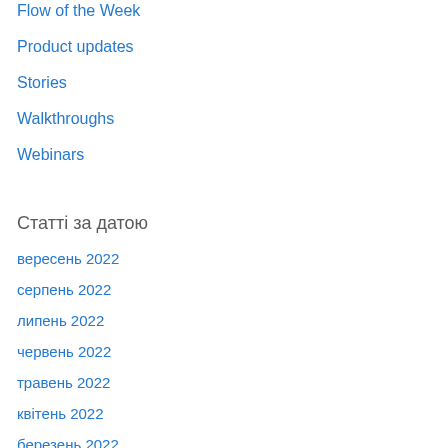Flow of the Week
Product updates
Stories
Walkthroughs
Webinars
Статті за датою
вересень 2022
серпень 2022
липень 2022
червень 2022
травень 2022
квітень 2022
березень 2022